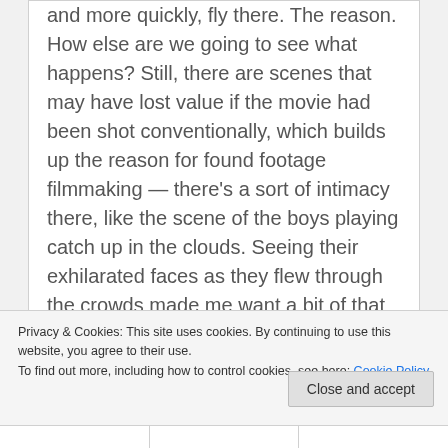and more quickly, fly there. The reason. How else are we going to see what happens? Still, there are scenes that may have lost value if the movie had been shot conventionally, which builds up the reason for found footage filmmaking — there's a sort of intimacy there, like the scene of the boys playing catch up in the clouds. Seeing their exhilarated faces as they flew through the crowds made me want a bit of that power.
[Figure (other): Broken/loading image placeholder with small icon in a bordered box]
Privacy & Cookies: This site uses cookies. By continuing to use this website, you agree to their use.
To find out more, including how to control cookies, see here: Cookie Policy
Close and accept